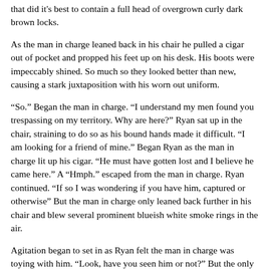that did it's best to contain a full head of overgrown curly dark brown locks.
As the man in charge leaned back in his chair he pulled a cigar out of pocket and propped his feet up on his desk. His boots were impeccably shined. So much so they looked better than new, causing a stark juxtaposition with his worn out uniform.
“So.” Began the man in charge. “I understand my men found you trespassing on my territory. Why are here?” Ryan sat up in the chair, straining to do so as his bound hands made it difficult. “I am looking for a friend of mine.” Began Ryan as the man in charge lit up his cigar. “He must have gotten lost and I believe he came here.” A “Hmph.” escaped from the man in charge. Ryan continued. “If so I was wondering if you have him, captured or otherwise” But the man in charge only leaned back further in his chair and blew several prominent blueish white smoke rings in the air.
Agitation began to set in as Ryan felt the man in charge was toying with him. “Look, have you seen him or not?” But the only response